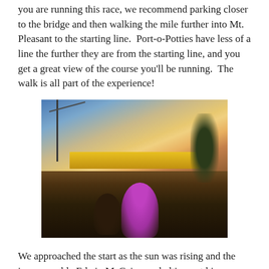you are running this race, we recommend parking closer to the bridge and then walking the mile further into Mt. Pleasant to the starting line.  Port-o-Potties have less of a line the further they are from the starting line, and you get a great view of the course you'll be running.  The walk is all part of the experience!
[Figure (photo): Outdoor photo at dusk/dawn showing runners approaching a race start line arch banner. A crane is visible on the upper left. Two runners are visible from behind in the foreground, one wearing a pink shirt. Trees are visible on the right. The sky shows a sunset/sunrise gradient.]
We approached the start as the sun was rising and the incomparable Edwin McCain was belting out his song "Holy City" about our beloved Charleston.  We dropped Justin off first at his corral, which was only one corral back from the Kenyans and Ethiopians who were here to